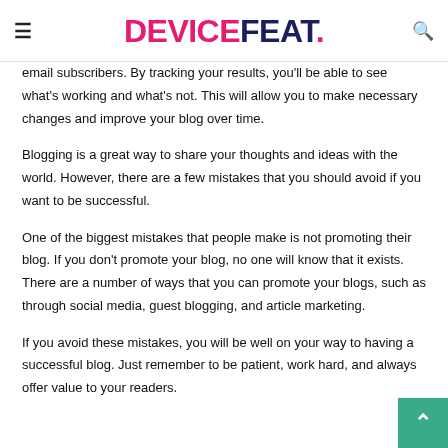DEVICEFEAT.
email subscribers. By tracking your results, you'll be able to see what's working and what's not. This will allow you to make necessary changes and improve your blog over time.
Blogging is a great way to share your thoughts and ideas with the world. However, there are a few mistakes that you should avoid if you want to be successful.
One of the biggest mistakes that people make is not promoting their blog. If you don't promote your blog, no one will know that it exists. There are a number of ways that you can promote your blogs, such as through social media, guest blogging, and article marketing.
If you avoid these mistakes, you will be well on your way to having a successful blog. Just remember to be patient, work hard, and always offer value to your readers.